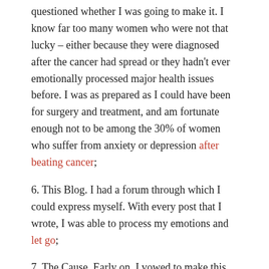questioned whether I was going to make it. I know far too many women who were not that lucky – either because they were diagnosed after the cancer had spread or they hadn't ever emotionally processed major health issues before. I was as prepared as I could have been for surgery and treatment, and am fortunate enough not to be among the 30% of women who suffer from anxiety or depression after beating cancer;
6. This Blog. I had a forum through which I could express myself. With every post that I wrote, I was able to process my emotions and let go;
7. The Cause. Early on, I vowed to make this about more than just me. In the past year, I've volunteered, advocated and raised money for breast cancer awareness, prevention and research. Through helping others, I found a sense of peace as to why I was diagnosed with breast cancer. And, on the advocacy front, I know I'm just getting started;
8. The Wisdom to Know the Difference. There were loved ones who had a difficult time processing my cancer. They either couldn't help